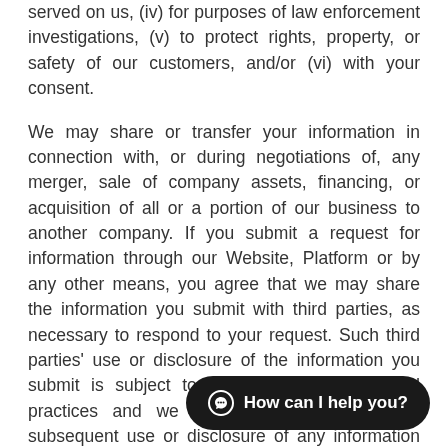served on us, (iv) for purposes of law enforcement investigations, (v) to protect rights, property, or safety of our customers, and/or (vi) with your consent.
We may share or transfer your information in connection with, or during negotiations of, any merger, sale of company assets, financing, or acquisition of all or a portion of our business to another company. If you submit a request for information through our Website, Platform or by any other means, you agree that we may share the information you submit with third parties, as necessary to respond to your request. Such third parties' use or disclosure of the information you submit is subject to their privacy policies and practices and we have no control over the subsequent use or disclosure of any information you provide. If we offer functionality to share information via email or social media on any of our Website and you choose the information you provide recipients. We may share with third parties, including